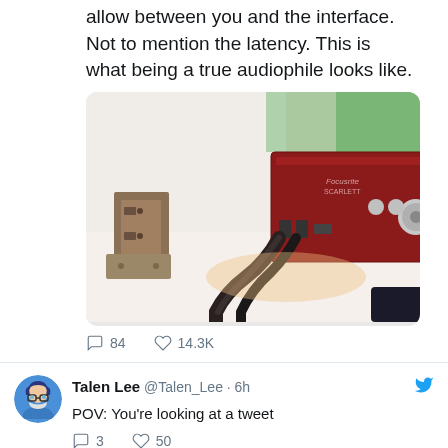allow between you and the interface. Not to mention the latency. This is what being a true audiophile looks like.
[Figure (photo): Photo of a red Focusrite Scarlett audio interface on a white shelf with cables plugged in and a door hinge visible on the left, with green LED lighting in background]
84  14.3K
Talen Lee @Talen_Lee · 6h
POV: You're looking at a tweet
3  50
Talen Lee @Talen_Lee · 9h